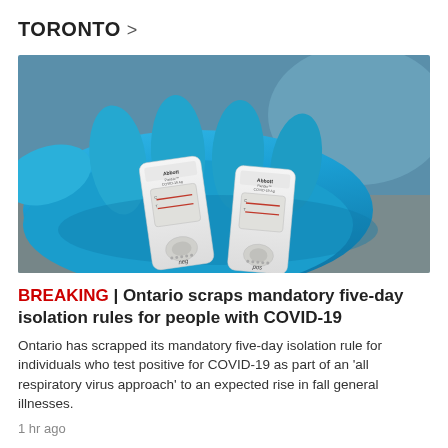TORONTO >
[Figure (photo): A pair of Abbott Panbio COVID-19 Ag rapid antigen test kits resting on a blue latex-gloved hand, one labeled 'neg' and one labeled 'pos'.]
BREAKING | Ontario scraps mandatory five-day isolation rules for people with COVID-19
Ontario has scrapped its mandatory five-day isolation rule for individuals who test positive for COVID-19 as part of an 'all respiratory virus approach' to an expected rise in fall general illnesses.
1 hr ago